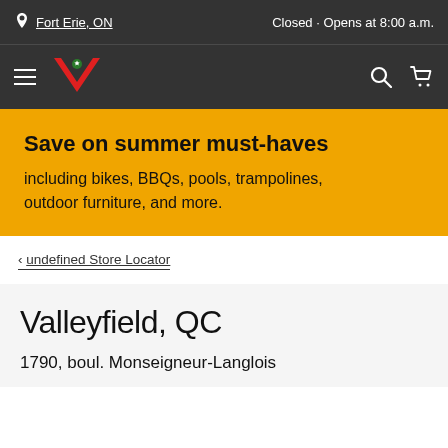Fort Erie, ON · Closed · Opens at 8:00 a.m.
[Figure (logo): Canadian Tire logo — red downward chevron with green maple leaf, on dark background with hamburger menu, search icon, and cart icon]
Save on summer must-haves
including bikes, BBQs, pools, trampolines, outdoor furniture, and more.
< undefined Store Locator
Valleyfield, QC
1790, boul. Monseigneur-Langlois